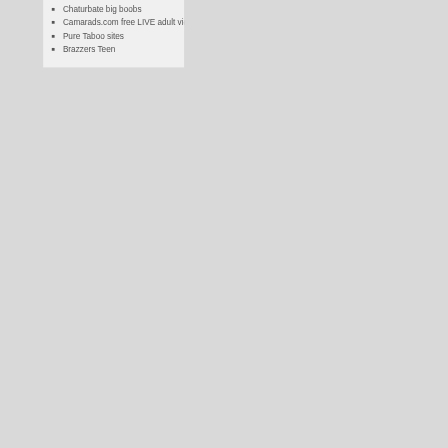Chaturbate big boobs
Camarads.com free LIVE adult video
Pure Taboo sites
Brazzers Teen
cams camsoda free free cams free sex cam love-island loveisland Pure Taboo realcamlife sex realifecam sex real life cam reallifecam reallifecam free sex reallifecam new sex reallifecam sex real life cam sexe hd reallifecam sex free reallifecam sex hd reallifecam sex new reallifecam sex video reallifecam sex videos reallifecam video sex relationship sex